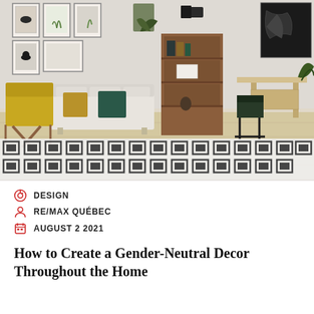[Figure (photo): Interior living room photo showing a mid-century modern styled space with yellow armchair, white sofa with teal and mustard pillows, wooden bookcase/cabinet, a writing desk with black chair, botanical art prints on the wall, black map art, and a black and white geometric patterned rug on a light wood floor.]
DESIGN
RE/MAX QUÉBEC
AUGUST 2 2021
How to Create a Gender-Neutral Decor Throughout the Home